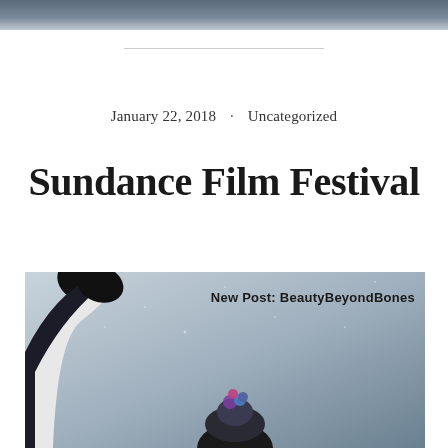[Figure (photo): Top banner photo showing a dark/blurred outdoor scene, cropped at top of page]
January 22, 2018 · Uncategorized
Sundance Film Festival
[Figure (photo): Photo of a person in winter clothing with arm raised, in snowy outdoor setting at Sundance Film Festival. Watermark reads 'New Post: BeautyBeyondBones']